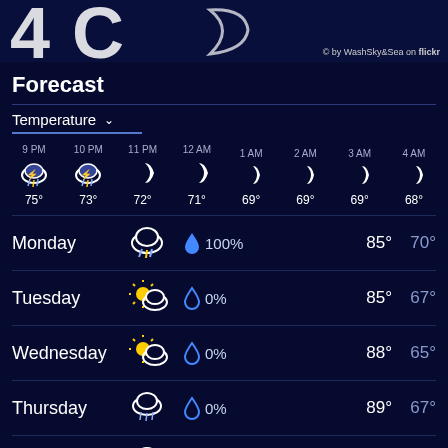[Figure (photo): Top bar with large temperature/moon icon and flickr credit watermark]
© by WashSky&Sea on flickr
Forecast
Temperature ∨
| 9 PM | 10 PM | 11 PM | 12 AM | 1 AM | 2 AM | 3 AM | 4 AM |
| --- | --- | --- | --- | --- | --- | --- | --- |
| ⛈ 75° | ⛈ 73° | ☽ 72° | ☽ 71° | ☽ 69° | ☽ 69° | ☽ 69° | ☽ 68° |
| Day | Weather | Precip | High | Low |
| --- | --- | --- | --- | --- |
| Monday | ⛈ | 💧 100% | 85° | 70° |
| Tuesday | ⛅ | 💧 0% | 85° | 67° |
| Wednesday | ⛅ | 💧 0% | 88° | 65° |
| Thursday | 🌧 | 💧 0% | 89° | 67° |
| Friday | 🌧 | 💧 10% | 90° | 70° |
| Saturday | ⛈ | 💧 25% | 85° | 70° |
| Sunday | ⛈ | 💧 10% | 84° | 69° |